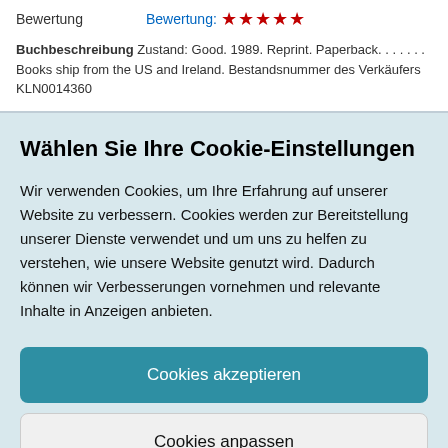(Olney, MD, USA)
Bewertung    Bewertung: ★★★★★
Buchbeschreibung Zustand: Good. 1989. Reprint. Paperback. . . . . . . Books ship from the US and Ireland. Bestandsnummer des Verkäufers KLN0014360
Wählen Sie Ihre Cookie-Einstellungen
Wir verwenden Cookies, um Ihre Erfahrung auf unserer Website zu verbessern. Cookies werden zur Bereitstellung unserer Dienste verwendet und um uns zu helfen zu verstehen, wie unsere Website genutzt wird. Dadurch können wir Verbesserungen vornehmen und relevante Inhalte in Anzeigen anbieten.
Cookies akzeptieren
Cookies anpassen